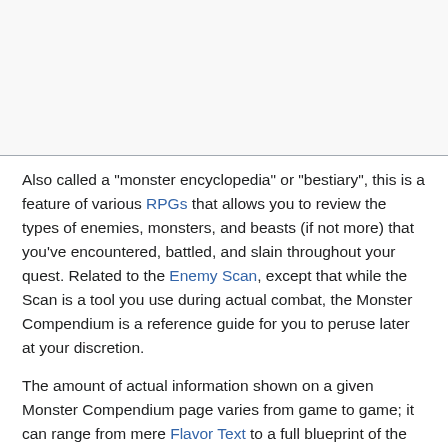Also called a "monster encyclopedia" or "bestiary", this is a feature of various RPGs that allows you to review the types of enemies, monsters, and beasts (if not more) that you've encountered, battled, and slain throughout your quest. Related to the Enemy Scan, except that while the Scan is a tool you use during actual combat, the Monster Compendium is a reference guide for you to peruse later at your discretion.
The amount of actual information shown on a given Monster Compendium page varies from game to game; it can range from mere Flavor Text to a full blueprint of the enemy's statistics (including elemental affinities, money and item